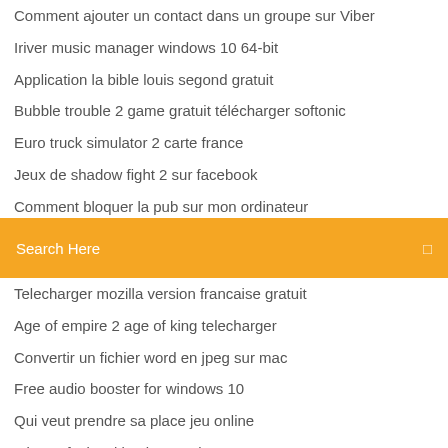Comment ajouter un contact dans un groupe sur Viber
Iriver music manager windows 10 64-bit
Application la bible louis segond gratuit
Bubble trouble 2 game gratuit télécharger softonic
Euro truck simulator 2 carte france
Jeux de shadow fight 2 sur facebook
Comment bloquer la pub sur mon ordinateur
Search Here
Telecharger mozilla version francaise gratuit
Age of empire 2 age of king telecharger
Convertir un fichier word en jpeg sur mac
Free audio booster for windows 10
Qui veut prendre sa place jeu online
Microsoft visual basic 2020 key
Icloud drive app für android
Mahjong gratuit telecharger windows 10
Vegas movie studio 13 key
Les sims freeplay sur pc en ligne